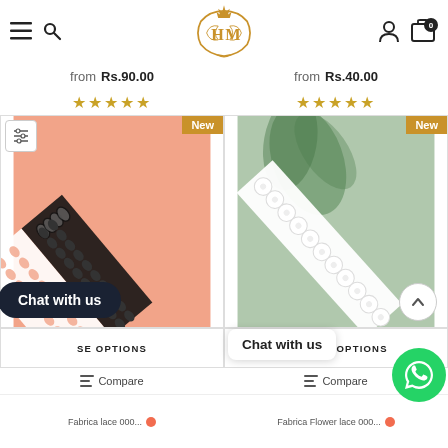HM logo with navigation icons
from Rs.90.00
from Rs.40.00
★★★★★  ★★★★★
[Figure (photo): Black and white lace trim on a salmon/peach pink background with New badge]
[Figure (photo): White floral lace trim on a sage green background with leaves and New badge]
CHOOSE OPTIONS
CHOOSE OPTIONS
Compare
Compare
Chat with us
Chat with us